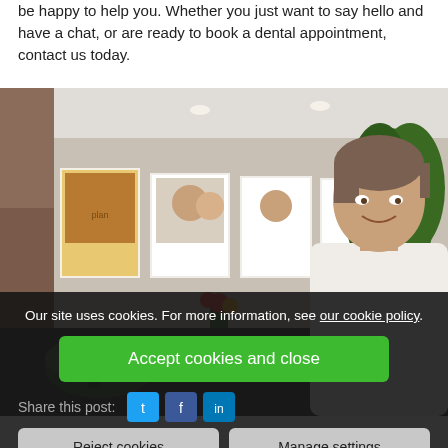be happy to help you. Whether you just want to say hello and have a chat, or are ready to book a dental appointment, contact us today.
[Figure (photo): A smiling male dentist in a white coat standing in a dental clinic reception area, with framed patient photos on the wall behind him and a plant to the right.]
Our site uses cookies. For more information, see our cookie policy.
Accept cookies and close
Share this post:
Reject cookies
Manage settings
Leave a comment: